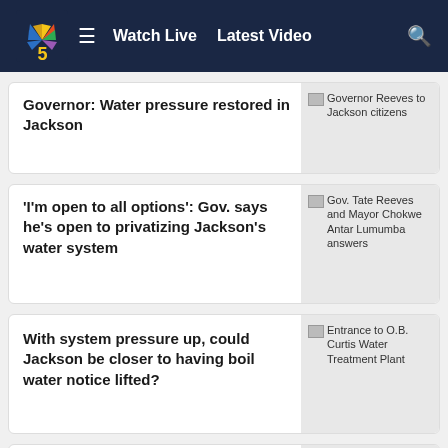Watch Live  Latest Video
Governor: Water pressure restored in Jackson
Governor Reeves to Jackson citizens
'I'm open to all options': Gov. says he's open to privatizing Jackson's water system
Gov. Tate Reeves and Mayor Chokwe Antar Lumumba answers
With system pressure up, could Jackson be closer to having boil water notice lifted?
Entrance to O.B. Curtis Water Treatment Plant
Northern Mississippi district attorney dies
John Champion